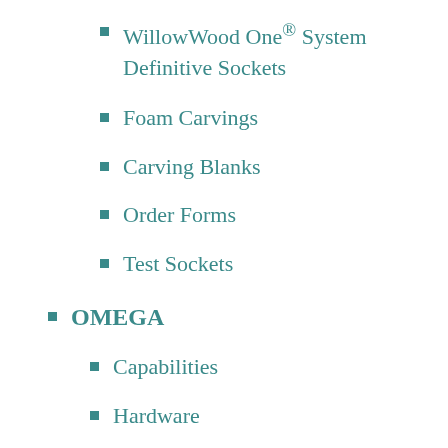WillowWood One® System Definitive Sockets
Foam Carvings
Carving Blanks
Order Forms
Test Sockets
OMEGA
Capabilities
Hardware
OMEGA® Scanner 3D
Tracing Hardware
OMEGA® Software